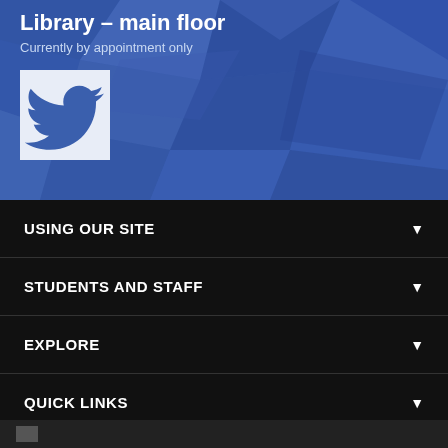[Figure (screenshot): Blue geometric polygon background banner for a library website header]
Library – main floor
Currently by appointment only
[Figure (logo): Twitter bird logo icon in a light blue/white square box]
USING OUR SITE
STUDENTS AND STAFF
EXPLORE
QUICK LINKS
HOW TO FIND US